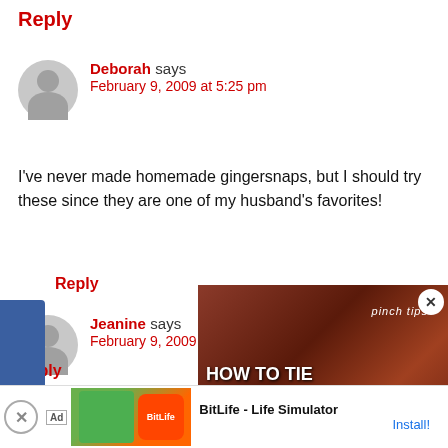Reply
Deborah says
February 9, 2009 at 5:25 pm
I've never made homemade gingersnaps, but I should try these since they are one of my husband's favorites!
Reply
Jeanine says
February 9, 2009 at 5:4…
Those are some great looking c… addition of the candied ginger…
[Figure (screenshot): Video overlay showing 'pinch tips HOW TO TIE A ROAST' with meat background image and play button]
Reply
[Figure (infographic): Advertisement for BitLife - Life Simulator app with Install button]